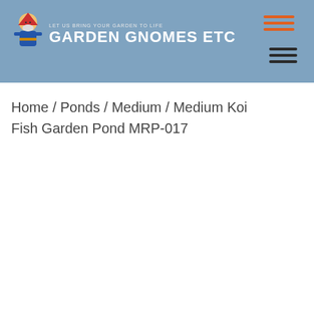Garden Gnomes Etc — LET US BRING YOUR GARDEN TO LIFE
Home / Ponds / Medium / Medium Koi Fish Garden Pond MRP-017
[Figure (photo): Product photo of a Medium Koi Fish Garden Pond (MRP-017) — a rock-shaped preformed garden pond mold in grey/beige tones with concave basin interior, photographed on white background. A search magnifier icon and a scroll-to-top arrow button appear overlaid on the image.]